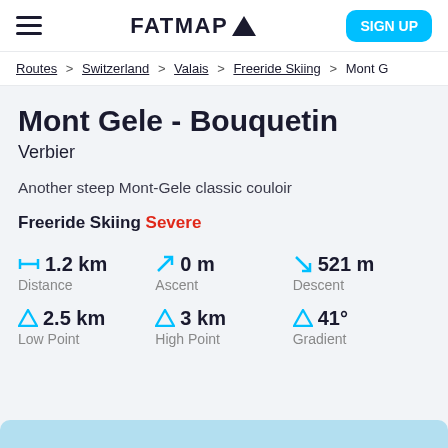FATMAP [logo] | SIGN UP
Routes > Switzerland > Valais > Freeride Skiing > Mont (truncated)
Mont Gele - Bouquetin
Verbier
Another steep Mont-Gele classic couloir
Freeride Skiing Severe
1.2 km Distance | 0 m Ascent | 521 m Descent
2.5 km Low Point | 3 km High Point | 41° Gradient